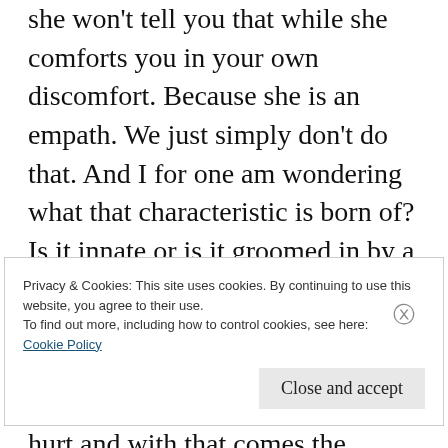she won't tell you that while she comforts you in your own discomfort. Because she is an empath. We just simply don't do that. And I for one am wondering what that characteristic is born of? Is it innate or is it groomed in by a world that expects halos to consistently shine without a tarnish? Is it that we were set on a path of being there for those that hurt and with that comes the responsibility to bear it no matter the cost? Or is it because at some point in our own lives we have learned that we never
Privacy & Cookies: This site uses cookies. By continuing to use this website, you agree to their use.
To find out more, including how to control cookies, see here:
Cookie Policy
Close and accept